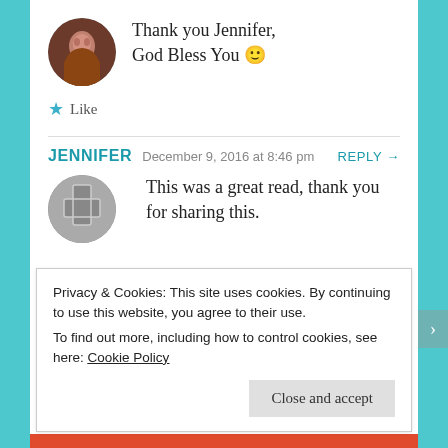Thank you Jennifer, God Bless You 🙂
★ Like
JENNIFER   December 9, 2016 at 8:46 pm   REPLY →
This was a great read, thank you for sharing this.
Privacy & Cookies: This site uses cookies. By continuing to use this website, you agree to their use.
To find out more, including how to control cookies, see here: Cookie Policy
Close and accept